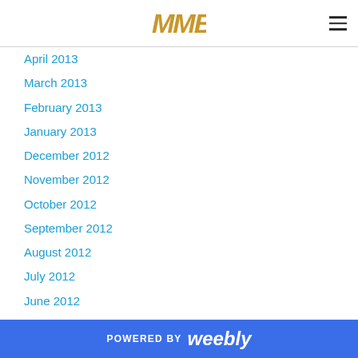MMB
April 2013
March 2013
February 2013
January 2013
December 2012
November 2012
October 2012
September 2012
August 2012
July 2012
June 2012
May 2012
April 2012
February 2012
January 2012
POWERED BY weebly